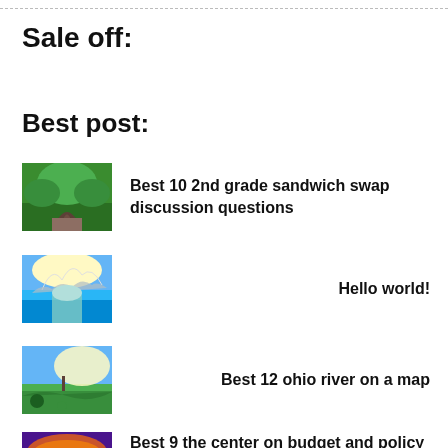Sale off:
Best post:
Best 10 2nd grade sandwich swap discussion questions
Hello world!
Best 12 ohio river on a map
Best 9 the center on budget and policy priorities